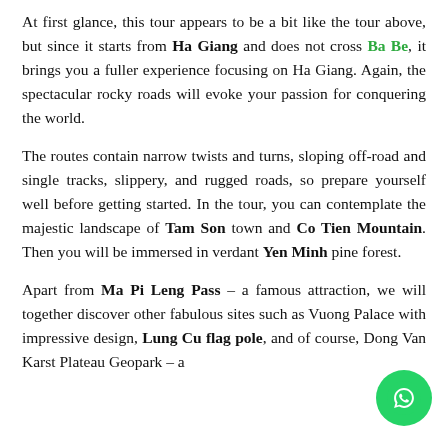At first glance, this tour appears to be a bit like the tour above, but since it starts from Ha Giang and does not cross Ba Be, it brings you a fuller experience focusing on Ha Giang. Again, the spectacular rocky roads will evoke your passion for conquering the world.
The routes contain narrow twists and turns, sloping off-road and single tracks, slippery, and rugged roads, so prepare yourself well before getting started. In the tour, you can contemplate the majestic landscape of Tam Son town and Co Tien Mountain. Then you will be immersed in verdant Yen Minh pine forest.
Apart from Ma Pi Leng Pass – a famous attraction, we will together discover other fabulous sites such as Vuong Palace with impressive design, Lung Cu flag pole, and of course, Dong Van Karst Plateau Geopark – a
[Figure (other): WhatsApp contact button (green circle with WhatsApp logo) in bottom-right corner]